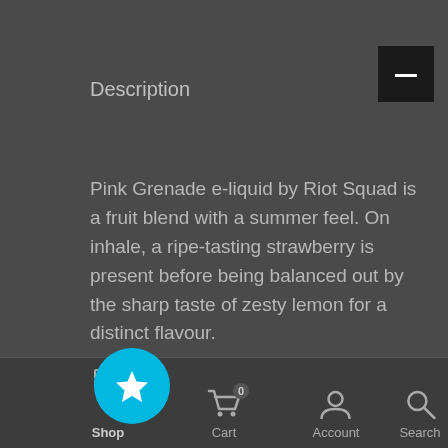Description
Pink Grenade e-liquid by Riot Squad is a fruit blend with a summer feel. On inhale, a ripe-tasting strawberry is present before being balanced out by the sharp taste of zesty lemon for a distinct flavour.
50VG : 50PG
Strawberry, Lemonade
Not Suitable for Sub Ohm
Quick Guide
[Figure (screenshot): Bottom navigation bar with Shop (star icon, active with cyan circle), Cart (cart icon with badge 0), Account (person icon), Search (magnifier icon)]